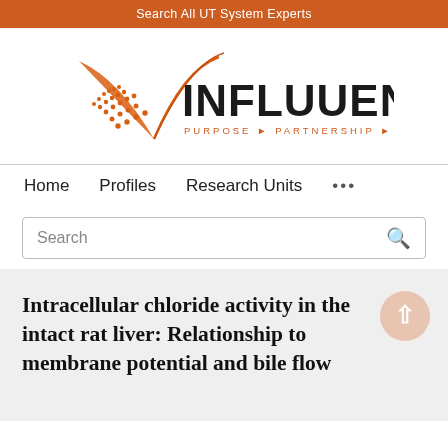Search All UT System Experts
[Figure (logo): Influuent logo with orange geometric triangle/fan shape and text INFLUUENT PURPOSE PARTNERSHIP PROGRESS]
Home   Profiles   Research Units   ...
Search
Intracellular chloride activity in the intact rat liver: Relationship to membrane potential and bile flow